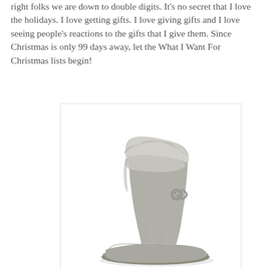right folks we are down to double digits. It's no secret that I love the holidays. I love getting gifts. I love giving gifts and I love seeing people's reactions to the gifts that I give them. Since Christmas is only 99 days away, let the What I Want For Christmas lists begin!
[Figure (photo): A gray UGG-style suede ankle boot with sheepskin cuff lining and a button/loop closure on the back, shown on a white background. The boot has a rubber sole and is photographed from a three-quarter angle.]